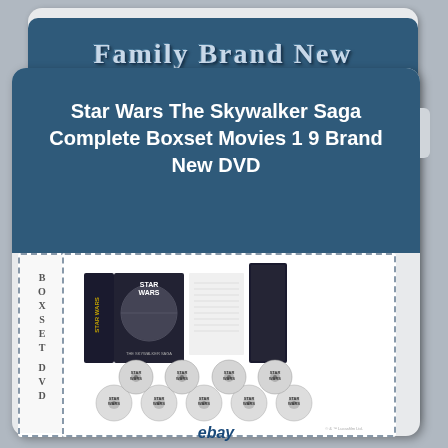Family Brand New
Star Wars The Skywalker Saga Complete Boxset Movies 1 9 Brand New DVD
[Figure (photo): Star Wars The Skywalker Saga Complete Boxset DVD set showing box, booklet, and 9 DVDs spread out, with vertical spine label reading BOXSET DVD]
ebay